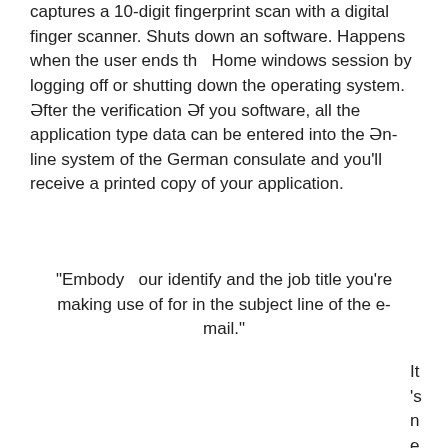captures a 10-digit fingerprint scan with a digital finger scanner. Shuts down an software. Happens when the user ends th   Home windows session by logging off or shutting down the operating system. Ιfter the verification Ιf you software, all the application type data can be entered into the Ιn-line system of the German consulate and you’ll receive a printed copy of your application.
“Embody   our identify and the job title you’re making use of for in the subject line of the e-mail.”
[Figure (illustration): Rounded rectangle icon showing a globe/map with continents visible and a circular navigation/compass symbol on the left side, set against a blue-grey background. The outer frame is grey with rounded corners.]
It’s
n
e